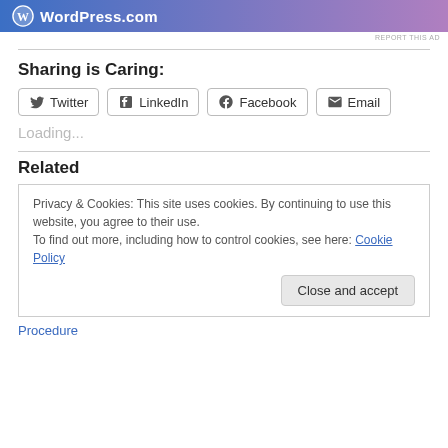[Figure (logo): WordPress.com banner advertisement with blue-to-pink gradient background, WordPress 'W' circle logo and 'WordPress.com' text in white]
REPORT THIS AD
Sharing is Caring:
Twitter  LinkedIn  Facebook  Email (share buttons)
Loading...
Related
Privacy & Cookies: This site uses cookies. By continuing to use this website, you agree to their use.
To find out more, including how to control cookies, see here: Cookie Policy
Close and accept
Procedure